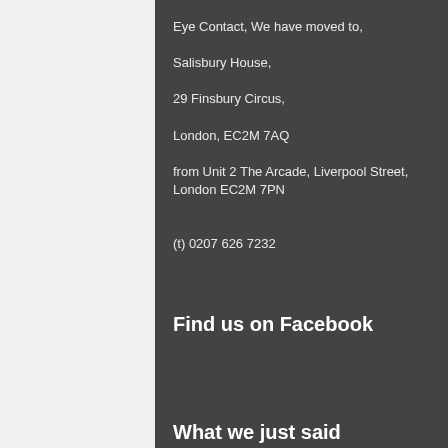Eye Contact, We have moved to,
Salisbury House,
29 Finsbury Circus,
London, EC2M 7AQ
from Unit 2 The Arcade, Liverpool Street, London EC2M 7PN
(t) 0207 626 7232
Find us on Facebook
What we just said